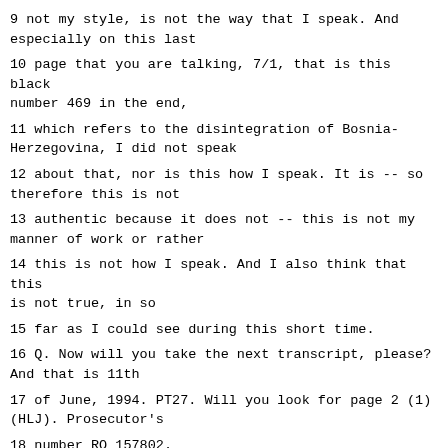9 not my style, is not the way that I speak. And especially on this last
10 page that you are talking, 7/1, that is this black number 469 in the end,
11 which refers to the disintegration of Bosnia-Herzegovina, I did not speak
12 about that, nor is this how I speak. It is -- so therefore this is not
13 authentic because it does not -- this is not my manner of work or rather
14 this is not how I speak. And I also think that this is not true, in so
15 far as I could see during this short time.
16 Q. Now will you take the next transcript, please? And that is 11th
17 of June, 1994. PT27. Will you look for page 2 (1) (HLJ). Prosecutor's
18 number RO 157802.
19 A. Yes. I've found it. The document and the page.
20 Q. According to this transcript, your intervention